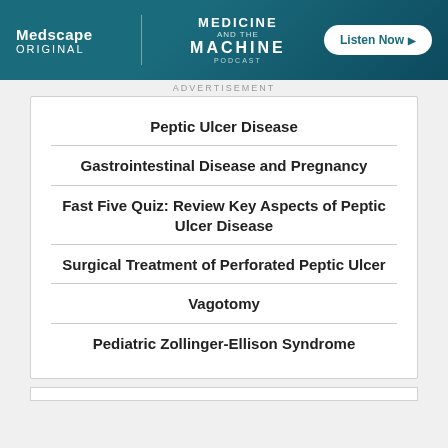[Figure (illustration): Medscape Original advertisement banner for 'Medicine and the Machine' podcast with Listen Now button]
ADVERTISEMENT
Peptic Ulcer Disease
Gastrointestinal Disease and Pregnancy
Fast Five Quiz: Review Key Aspects of Peptic Ulcer Disease
Surgical Treatment of Perforated Peptic Ulcer
Vagotomy
Pediatric Zollinger-Ellison Syndrome